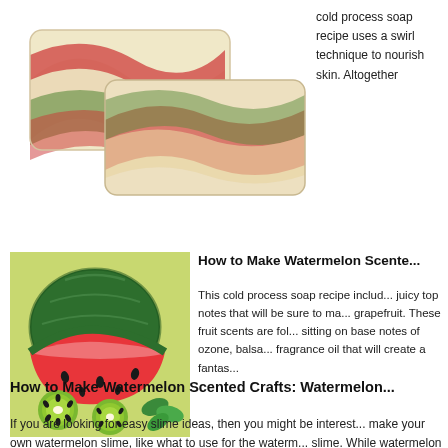[Figure (photo): Two bars of handmade soap with red, green, and cream swirl patterns on white background]
cold process swirl technique skin. Altogether
How to Make Watermelon Scente...
[Figure (photo): Watermelon, kiwi slices, and mint leaves arranged on a light green background]
This cold process soap recipe includ... juicy top notes that will be sure to ma... grapefruit. These fruit scents are fol... sitting on base notes of ozone, balsa... fragrance oil that will create a fantas...
How to Make Watermelon Scented Crafts: Watermelon...
If you are looking for easy slime ideas, then you might be interest... make your own watermelon slime, like what to use for the waterm... slime. While watermelon Kool-aid may be okay for toddlers, your...